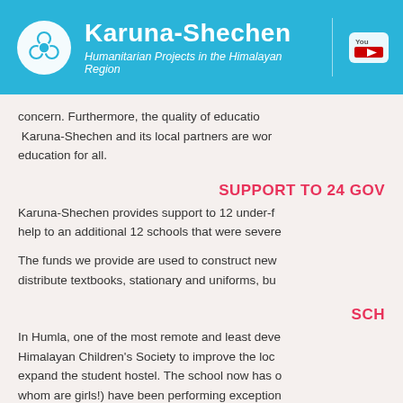Karuna-Shechen — Humanitarian Projects in the Himalayan Region
concern. Furthermore, the quality of education. Karuna-Shechen and its local partners are working for education for all.
SUPPORT TO 24 GOV
Karuna-Shechen provides support to 12 under-resourced schools and help to an additional 12 schools that were severely damaged.
The funds we provide are used to construct new buildings, distribute textbooks, stationary and uniforms, bu...
SCH
In Humla, one of the most remote and least developed areas, Himalayan Children's Society to improve the local school and expand the student hostel. The school now has over students, whom are girls!) have been performing exceptionally...